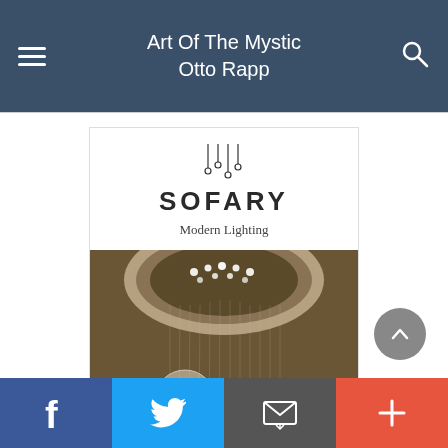Art Of The Mystic Otto Rapp
[Figure (screenshot): Sofary Modern Lighting advertisement card featuring the Sofary logo with hanging light icons and a photo of a large crystal ball chandelier installation in a grand hall.]
Social share buttons: Facebook, Twitter, Email, Plus